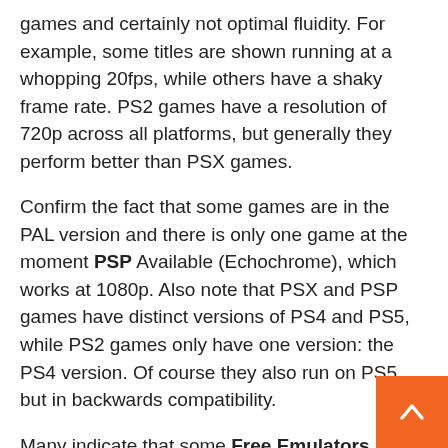games and certainly not optimal fluidity. For example, some titles are shown running at a whopping 20fps, while others have a shaky frame rate. PS2 games have a resolution of 720p across all platforms, but generally they perform better than PSX games.
Confirm the fact that some games are in the PAL version and there is only one game at the moment PSP Available (Echochrome), which works at 1080p. Also note that PSX and PSP games have distinct versions of PS4 and PS5, while PS2 games only have one version: the PS4 version. Of course they also run on PS5, but in backwards compatibility.
Many indicate that some Free Emulators For PCs they've been able to do an incredibly better job even lower configurations than not only the PS5, but also